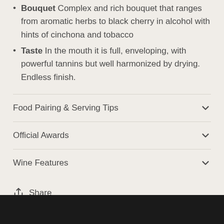Bouquet Complex and rich bouquet that ranges from aromatic herbs to black cherry in alcohol with hints of cinchona and tobacco
Taste In the mouth it is full, enveloping, with powerful tannins but well harmonized by drying. Endless finish.
Food Pairing & Serving Tips
Official Awards
Wine Features
Share